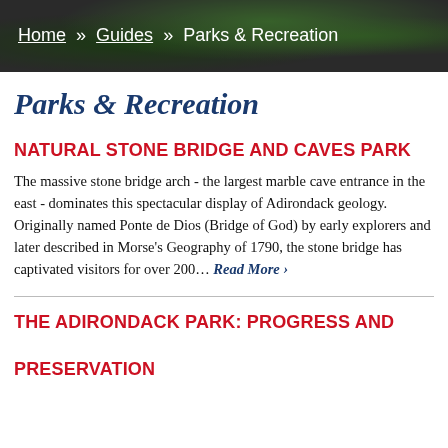Home » Guides » Parks & Recreation
Parks & Recreation
NATURAL STONE BRIDGE AND CAVES PARK
The massive stone bridge arch - the largest marble cave entrance in the east - dominates this spectacular display of Adirondack geology. Originally named Ponte de Dios (Bridge of God) by early explorers and later described in Morse's Geography of 1790, the stone bridge has captivated visitors for over 200… Read More ›
THE ADIRONDACK PARK: PROGRESS AND PRESERVATION